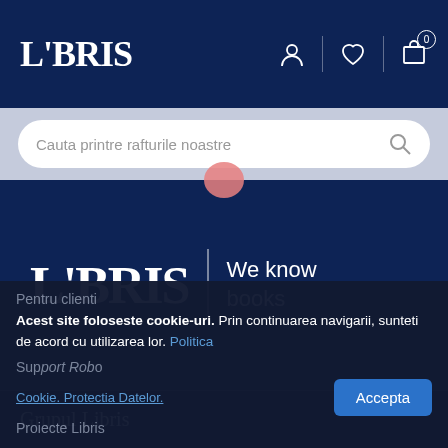[Figure (logo): LIBRIS logo in white serif font on dark navy header bar with user, heart, and cart icons]
[Figure (screenshot): Search bar with placeholder text 'Cauta printre rafturile noastre' and search icon, on light blue-grey background]
[Figure (logo): LIBRIS logo with tagline 'We know books' on dark navy background]
Grupul Libris
Pentru clienti
Acest site foloseste cookie-uri. Prin continuarea navigarii, sunteti de acord cu utilizarea lor. Politica Cookie. Protectia Datelor.
Support Robo
Proiecte Libris